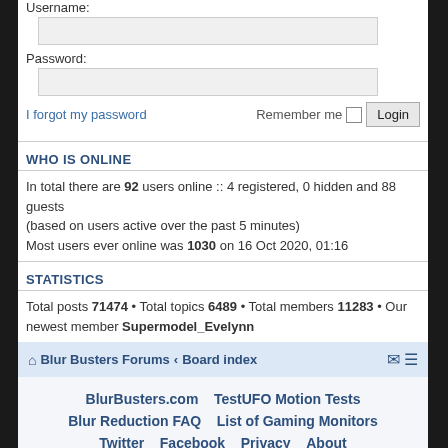Username:
Password:
I forgot my password    Remember me  Login
WHO IS ONLINE
In total there are 92 users online :: 4 registered, 0 hidden and 88 guests (based on users active over the past 5 minutes)
Most users ever online was 1030 on 16 Oct 2020, 01:16
STATISTICS
Total posts 71474 • Total topics 6489 • Total members 11283 • Our newest member Supermodel_Evelynn
Blur Busters Forums < Board index
BlurBusters.com   TestUFO Motion Tests
Blur Reduction FAQ   List of Gaming Monitors
Twitter   Facebook   Privacy   About